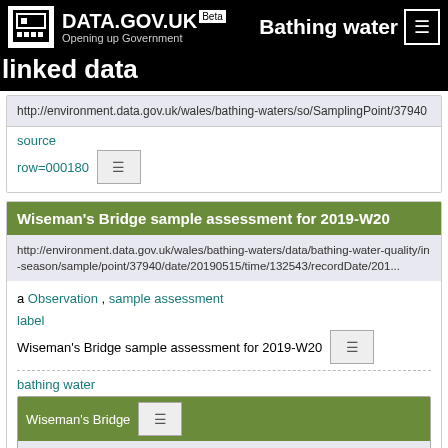DATA.GOV.UK Beta — Bathing water linked data
http://environment.data.gov.uk/wales/bathing-waters/so/SamplingPoint/37940
source
row=000180
Wiseman's Bridge sample assessment for 2019-W20
http://environment.data.gov.uk/wales/bathing-waters/data/bathing-water-quality/in-season/sample/point/37940/date/20190515/time/132543/recordDate/201...
a Observation , sample assessment
label
Wiseman's Bridge sample assessment for 2019-W20
bathing water
Wiseman's Bridge
http://environment.data.gov.uk/wales/bathing-waters/id/bathing-water/ukl1403-37940